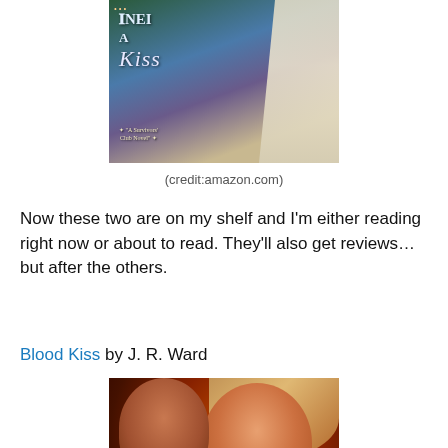[Figure (photo): Book cover of 'Only a Kiss - A Survivors Club Novel' showing a woman in a white dress against a scenic outdoor background]
(credit:amazon.com)
Now these two are on my shelf and I'm either reading right now or about to read. They'll also get reviews…but after the others.
Blood Kiss by J. R. Ward
[Figure (photo): Book cover of 'Blood Kiss' showing a couple in a romantic/vampire embrace with red dramatic lighting]